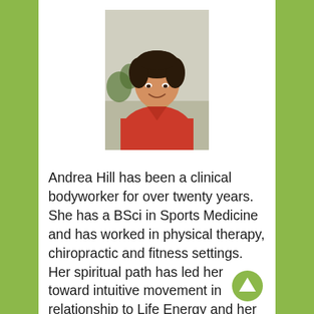[Figure (photo): Portrait photo of Andrea Hill, a woman with short dark hair wearing a red top and a necklace, smiling, with a plant visible in the background.]
Andrea Hill has been a clinical bodyworker for over twenty years. She has a BSci in Sports Medicine and has worked in physical therapy, chiropractic and fitness settings. Her spiritual path has led her toward intuitive movement in relationship to Life Energy and her love for this process has become the inspiration for her work...